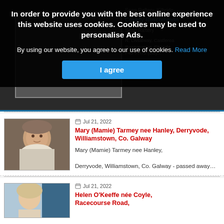In order to provide you with the best online experience this website uses cookies. Cookies may be used to personalise Ads.
By using our website, you agree to our use of cookies. Read More
I agree
Jul 21, 2022
Mary (Mamie) Tarmey nee Hanley, Derryvode, Williamstown, Co. Galway
Mary (Mamie) Tarmey nee Hanley,

Derryvode, Williamstown, Co. Galway - passed away…
Jul 21, 2022
Helen O'Keeffe née Coyle, Racecourse Road,